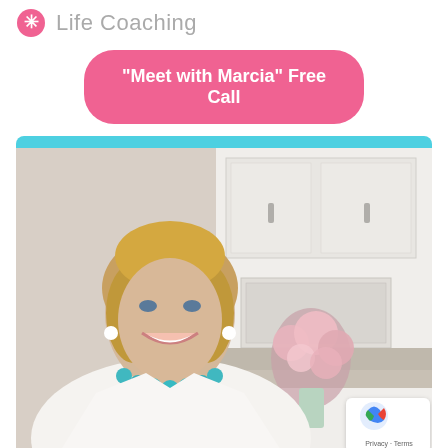Life Coaching
“Meet with Marcia” Free Call
[Figure (photo): Professional headshot of a middle-aged woman with blonde bob haircut, wearing white blazer and turquoise beaded necklace, smiling, photographed in a white kitchen with pink roses in background]
Privacy · Terms